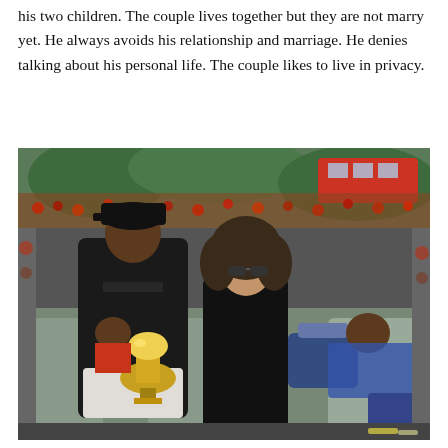his two children. The couple lives together but they are not marry yet. He always avoids his relationship and marriage. He denies talking about his personal life. The couple likes to live in privacy.
[Figure (photo): A man in a black cap and t-shirt holding an NBA championship trophy sits on a parade bus next to a woman with curly hair wearing sunglasses. A child is visible sleeping/resting on the right side. The background shows a large crowd at what appears to be an NBA championship parade.]